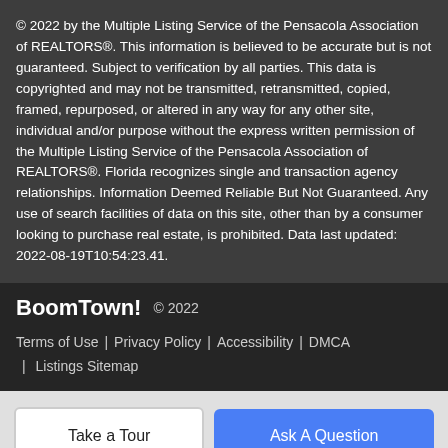© 2022 by the Multiple Listing Service of the Pensacola Association of REALTORS®. This information is believed to be accurate but is not guaranteed. Subject to verification by all parties. This data is copyrighted and may not be transmitted, retransmitted, copied, framed, repurposed, or altered in any way for any other site, individual and/or purpose without the express written permission of the Multiple Listing Service of the Pensacola Association of REALTORS®. Florida recognizes single and transaction agency relationships. Information Deemed Reliable But Not Guaranteed. Any use of search facilities of data on this site, other than by a consumer looking to purchase real estate, is prohibited. Data last updated: 2022-08-19T10:54:23.41.
BoomTown! © 2022 | Terms of Use | Privacy Policy | Accessibility | DMCA | Listings Sitemap
Take a Tour
Ask A Question